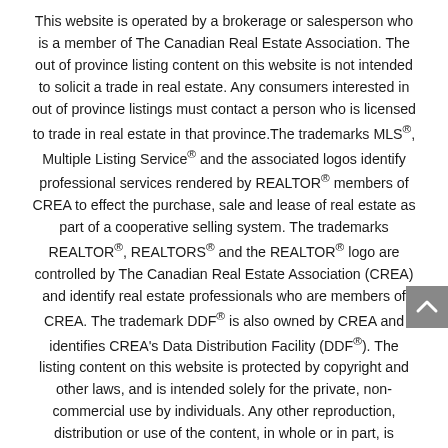This website is operated by a brokerage or salesperson who is a member of The Canadian Real Estate Association. The out of province listing content on this website is not intended to solicit a trade in real estate. Any consumers interested in out of province listings must contact a person who is licensed to trade in real estate in that province.The trademarks MLS®, Multiple Listing Service® and the associated logos identify professional services rendered by REALTOR® members of CREA to effect the purchase, sale and lease of real estate as part of a cooperative selling system. The trademarks REALTOR®, REALTORS® and the REALTOR® logo are controlled by The Canadian Real Estate Association (CREA) and identify real estate professionals who are members of CREA. The trademark DDF® is also owned by CREA and identifies CREA's Data Distribution Facility (DDF®). The listing content on this website is protected by copyright and other laws, and is intended solely for the private, non-commercial use by individuals. Any other reproduction, distribution or use of the content, in whole or in part, is specifically forbidden. The prohibited uses include commercial use, "screen scraping", "database scraping", and any other activity intended to collect, store, reorganize or manipulate data on the pages